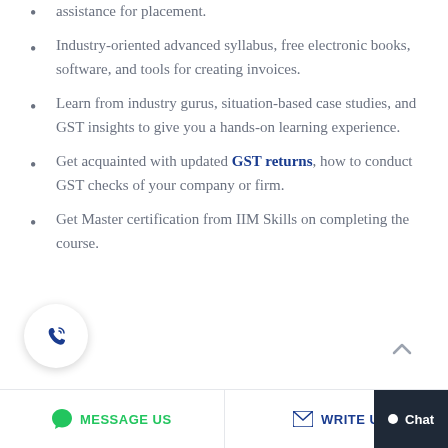assistance for placement.
Industry-oriented advanced syllabus, free electronic books, software, and tools for creating invoices.
Learn from industry gurus, situation-based case studies, and GST insights to give you a hands-on learning experience.
Get acquainted with updated GST returns, how to conduct GST checks of your company or firm.
Get Master certification from IIM Skills on completing the course.
MESSAGE US   WRITE U   Chat